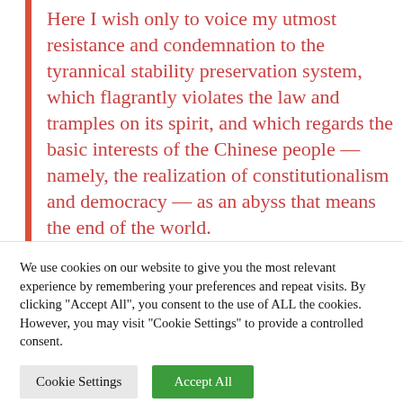Here I wish only to voice my utmost resistance and condemnation to the tyrannical stability preservation system, which flagrantly violates the law and tramples on its spirit, and which regards the basic interests of the Chinese people — namely, the realization of constitutionalism and democracy — as an abyss that means the end of the world.
We use cookies on our website to give you the most relevant experience by remembering your preferences and repeat visits. By clicking "Accept All", you consent to the use of ALL the cookies. However, you may visit "Cookie Settings" to provide a controlled consent.